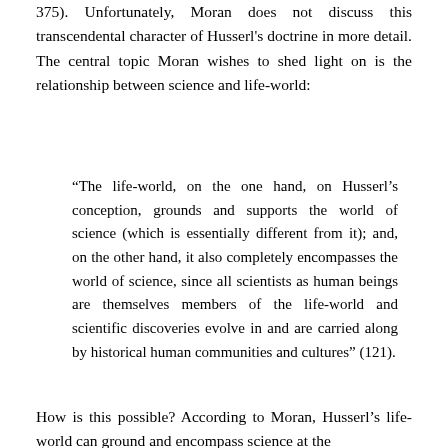375). Unfortunately, Moran does not discuss this transcendental character of Husserl's doctrine in more detail. The central topic Moran wishes to shed light on is the relationship between science and life-world:
“The life-world, on the one hand, on Husserl’s conception, grounds and supports the world of science (which is essentially different from it); and, on the other hand, it also completely encompasses the world of science, since all scientists as human beings are themselves members of the life-world and scientific discoveries evolve in and are carried along by historical human communities and cultures” (121).
How is this possible? According to Moran, Husserl’s life-world can ground and encompass science at the